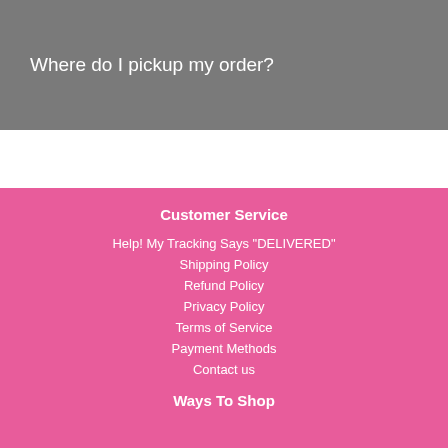Where do I pickup my order?
Help! My Tracking Says "DELIVERED"
Shipping Policy
Refund Policy
Privacy Policy
Terms of Service
Payment Methods
Contact us
Customer Service
Ways To Shop